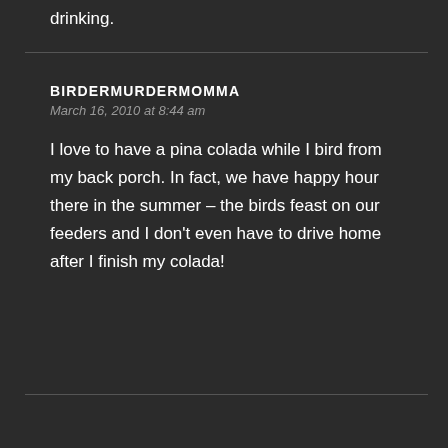drinking.
BIRDERMURDERMOMMA
March 16, 2010 at 8:44 am

I love to have a pina colada while I bird from my back porch. In fact, we have happy hour there in the summer – the birds feast on our feeders and I don't even have to drive home after I finish my colada!